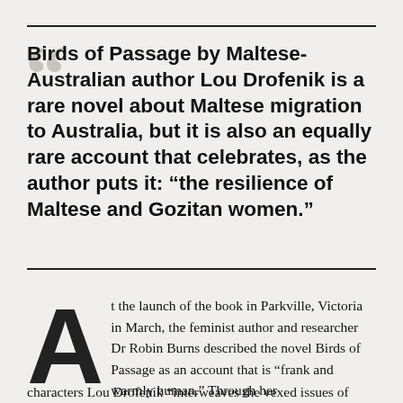Birds of Passage by Maltese-Australian author Lou Drofenik is a rare novel about Maltese migration to Australia, but it is also an equally rare account that celebrates, as the author puts it: “the resilience of Maltese and Gozitan women.”
At the launch of the book in Parkville, Victoria in March, the feminist author and researcher Dr Robin Burns described the novel Birds of Passage as an account that is “frank and warmly human.” Through her characters Lou Drofenik “interweaves the vexed issues of